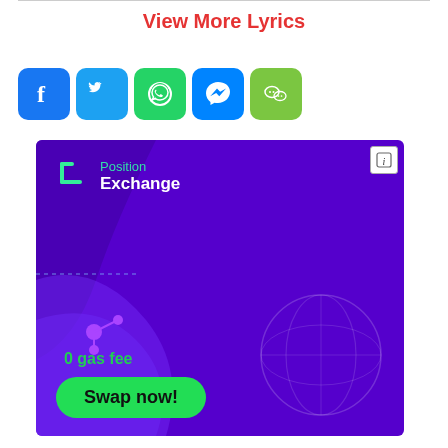View More Lyrics
[Figure (other): Social media share icons: Facebook (blue), Twitter (light blue), WhatsApp (green), Messenger (blue), WeChat (green)]
[Figure (other): Position Exchange advertisement banner: purple background with 'Position Exchange' logo, ripple/wave design, dotted line, node icons, '0 gas fee' text in green, 'Swap now!' green button, and a globe watermark on the right side.]